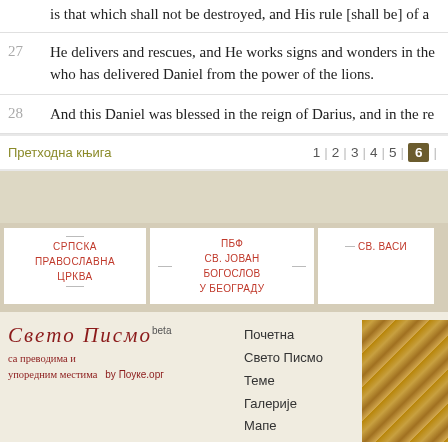is that which shall not be destroyed, and His rule [shall be] of a…
27 He delivers and rescues, and He works signs and wonders in the… who has delivered Daniel from the power of the lions.
28 And this Daniel was blessed in the reign of Darius, and in the re…
Претходна књига   1 | 2 | 3 | 4 | 5 | 6 |
[Figure (logo): Institution logos: СРПСКА ПРАВОСЛАВНА ЦРКВА, ПБФ СВ. ЈОВАН БОГОСЛОВ У БЕОГРАДУ, СВ. ВАСИ...]
Свето Писмо beta
са преводима и упоредним местима by Поуке.орг
Почетна
Свето Писмо
Теме
Галерије
Мапе